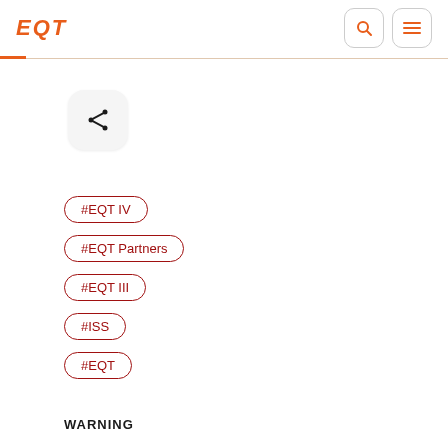EQT
[Figure (other): Share icon button with rounded square background]
#EQT IV
#EQT Partners
#EQT III
#ISS
#EQT
WARNING